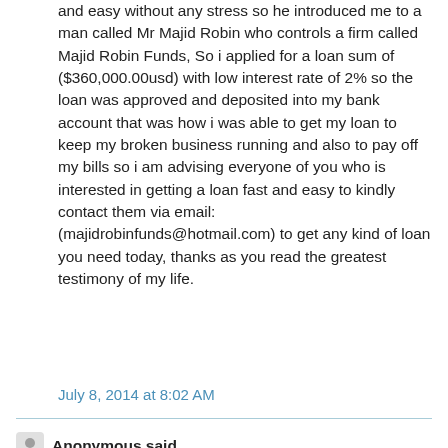and easy without any stress so he introduced me to a man called Mr Majid Robin who controls a firm called Majid Robin Funds, So i applied for a loan sum of ($360,000.00usd) with low interest rate of 2% so the loan was approved and deposited into my bank account that was how i was able to get my loan to keep my broken business running and also to pay off my bills so i am advising everyone of you who is interested in getting a loan fast and easy to kindly contact them via email: (majidrobinfunds@hotmail.com) to get any kind of loan you need today, thanks as you read the greatest testimony of my life.
July 8, 2014 at 8:02 AM
Anonymous said...
Hello everyone, i am Mr Elvis walker from California USA, i want to use this great medium to thank Mr Eladio cruz for his kindness upon my life and that of my family. for granting me a loan of $800,000 to finish the building of my house and to start a new business, I never thought this day would come through that it will be able to finish the building of my